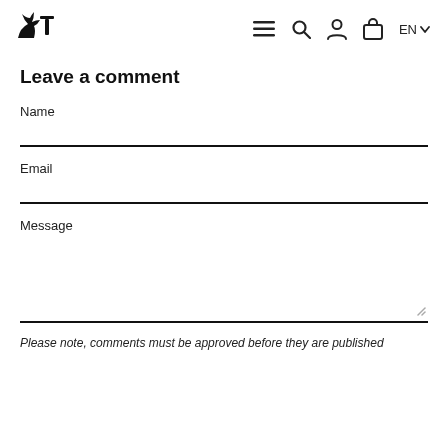Leave a comment form page with logo and navigation icons (hamburger menu, search, account, bag, EN language selector)
Leave a comment
Name
Email
Message
Please note, comments must be approved before they are published